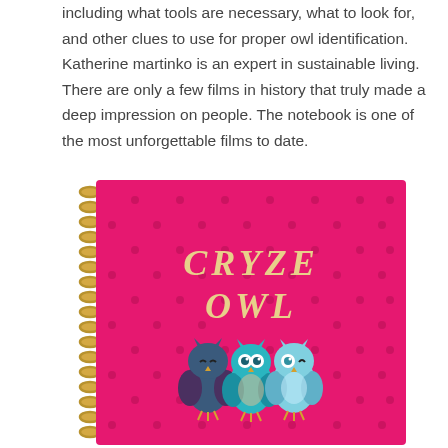including what tools are necessary, what to look for, and other clues to use for proper owl identification. Katherine martinko is an expert in sustainable living. There are only a few films in history that truly made a deep impression on people. The notebook is one of the most unforgettable films to date.
[Figure (photo): A pink/magenta spiral-bound notebook with polka dot pattern. The cover reads 'CRYZE OWL' in gold/cream script lettering, with three cartoon owl illustrations below the text. The spiral binding is visible on the left side.]